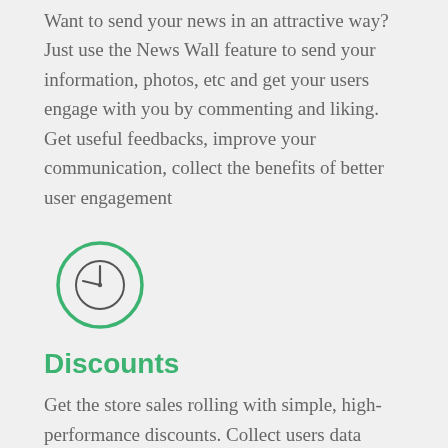Want to send your news in an attractive way? Just use the News Wall feature to send your information, photos, etc and get your users engage with you by commenting and liking. Get useful feedbacks, improve your communication, collect the benefits of better user engagement
[Figure (illustration): A circular clock icon with a green outline circle surrounding a smaller gray clock symbol showing roughly 9 o'clock position.]
Discounts
Get the store sales rolling with simple, high-performance discounts. Collect users data when your coupons are redeemed. Configure